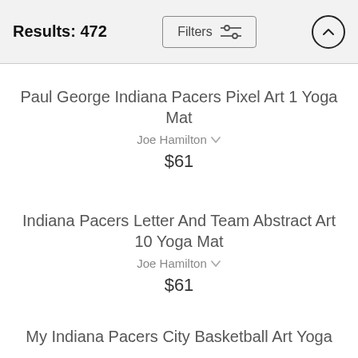Results: 472
Paul George Indiana Pacers Pixel Art 1 Yoga Mat
Joe Hamilton
$61
Indiana Pacers Letter And Team Abstract Art 10 Yoga Mat
Joe Hamilton
$61
My Indiana Pacers City Basketball Art Yoga